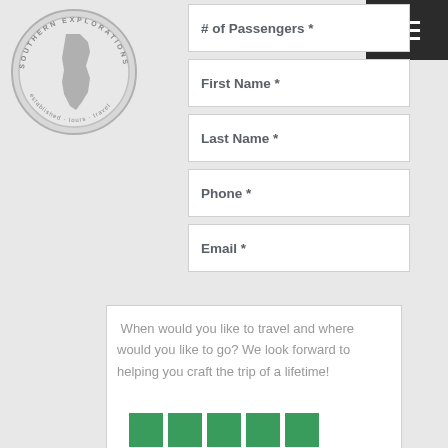[Figure (logo): Southern Explorations circular logo with South America map silhouette and text around the border]
# of Passengers *
First Name *
Last Name *
Phone *
Email *
When would you like to travel and where would you like to go? We look forward to helping you craft the trip of a lifetime!
SUBMIT